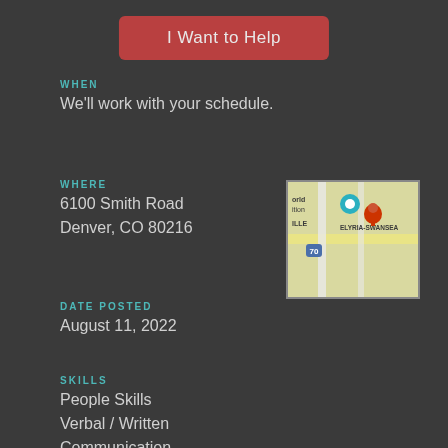I Want to Help
WHEN
We'll work with your schedule.
WHERE
6100 Smith Road
Denver, CO 80216
[Figure (map): Map showing location near Elyria-Swansea neighborhood in Denver, CO, with a red pin marker.]
DATE POSTED
August 11, 2022
SKILLS
People Skills
Verbal / Written Communication
Administrative Support